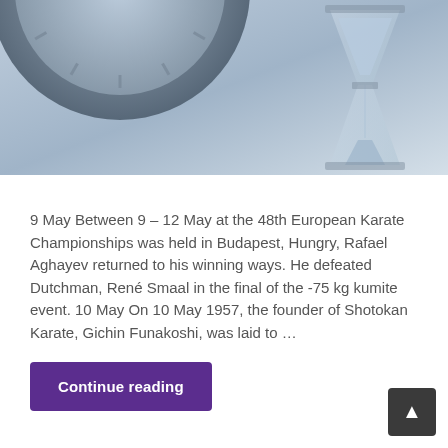[Figure (photo): Hero image showing a clock and hourglass on a blue-grey background]
9 May Between 9 – 12 May at the 48th European Karate Championships was held in Budapest, Hungry, Rafael Aghayev returned to his winning ways. He defeated Dutchman, René Smaal in the final of the -75 kg kumite event. 10 May On 10 May 1957, the founder of Shotokan Karate, Gichin Funakoshi, was laid to …
Continue reading
Andy Sherry, Antonio Espinos, Billy Higgins, BKF, Bob Poynton, charles naylor, chris adamou, danny bryceland, Frank Brennan, fred gille, Gichin Funakoshi, Hamish Ada…, Henri Plee, Hirokazu Kanazawa, IOC, Jacques Delcourt, JKA, Keinosuke Enoeda, KUGB, Mas Oyama, Mas Tsuroka, Miki